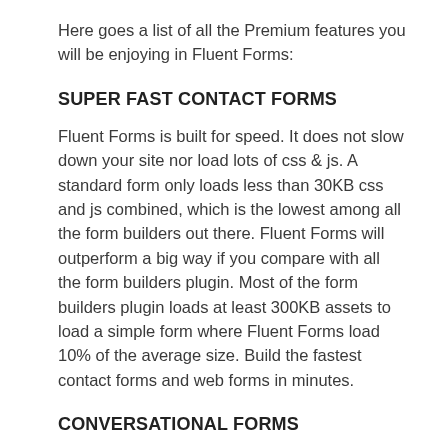Here goes a list of all the Premium features you will be enjoying in Fluent Forms:
SUPER FAST CONTACT FORMS
Fluent Forms is built for speed. It does not slow down your site nor load lots of css & js. A standard form only loads less than 30KB css and js combined, which is the lowest among all the form builders out there. Fluent Forms will outperform a big way if you compare with all the form builders plugin. Most of the form builders plugin loads at least 300KB assets to load a simple form where Fluent Forms load 10% of the average size. Build the fastest contact forms and web forms in minutes.
CONVERSATIONAL FORMS
Fluent Forms v4.0 is live, and it's more powerful than ever! With the most awaited Conversational Forms, the